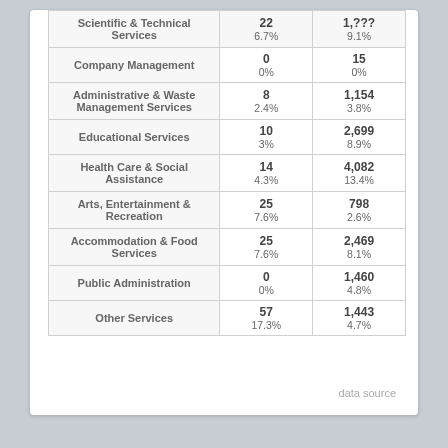| Industry | Col1 | Col2 |
| --- | --- | --- |
| Scientific & Technical Services | 22
6.7% | 1,???
9.1% |
| Company Management | 0
0% | 15
0% |
| Administrative & Waste Management Services | 8
2.4% | 1,154
3.8% |
| Educational Services | 10
3% | 2,699
8.9% |
| Health Care & Social Assistance | 14
4.3% | 4,082
13.4% |
| Arts, Entertainment & Recreation | 25
7.6% | 798
2.6% |
| Accommodation & Food Services | 25
7.6% | 2,469
8.1% |
| Public Administration | 0
0% | 1,460
4.8% |
| Other Services | 57
17.3% | 1,443
4.7% |
data source